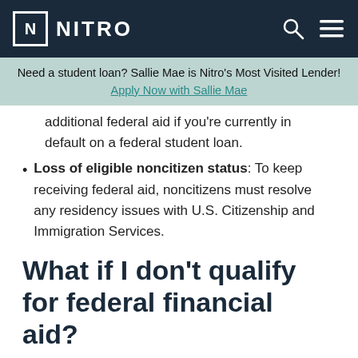NITRO
Need a student loan? Sallie Mae is Nitro's Most Visited Lender! Apply Now with Sallie Mae
additional federal aid if you're currently in default on a federal student loan.
Loss of eligible noncitizen status: To keep receiving federal aid, noncitizens must resolve any residency issues with U.S. Citizenship and Immigration Services.
What if I don't qualify for federal financial aid?
Grants and loans from the federal government aren't the only options when it comes to making college